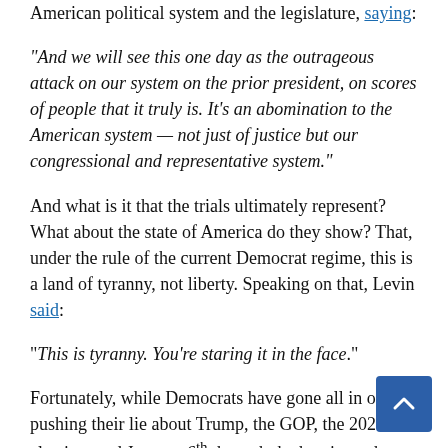American political system and the legislature, saying:
“And we will see this one day as the outrageous attack on our system on the prior president, on scores of people that it truly is. It’s an abomination to the American system — not just of justice but our congressional and representative system.”
And what is it that the trials ultimately represent? What about the state of America do they show? That, under the rule of the current Democrat regime, this is a land of tyranny, not liberty. Speaking on that, Levin said:
“This is tyranny. You’re staring it in the face.”
Fortunately, while Democrats have gone all in on pushing their lie about Trump, the GOP, the 2020 election, and January 6th through the hearings, those hearings haven’t done overly well in the sphere of ratings, even looking like a flop compared to